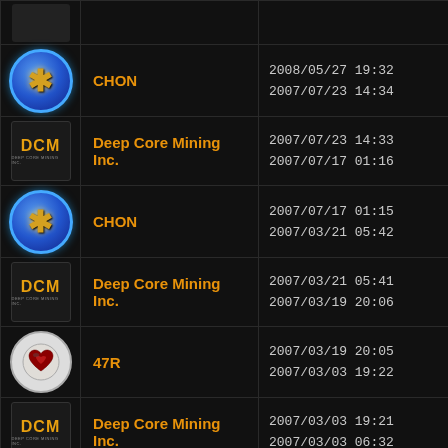| Icon | Name | Date Range |
| --- | --- | --- |
| [icon] |  |  |
| [CHON icon] | CHON | 2008/05/27 19:32 / 2007/07/23 14:34 |
| [DCM icon] | Deep Core Mining Inc. | 2007/07/23 14:33 / 2007/07/17 01:16 |
| [CHON icon] | CHON | 2007/07/17 01:15 / 2007/03/21 05:42 |
| [DCM icon] | Deep Core Mining Inc. | 2007/03/21 05:41 / 2007/03/19 20:06 |
| [47R icon] | 47R | 2007/03/19 20:05 / 2007/03/03 19:22 |
| [DCM icon] | Deep Core Mining Inc. | 2007/03/03 19:21 / 2007/03/03 06:32 |